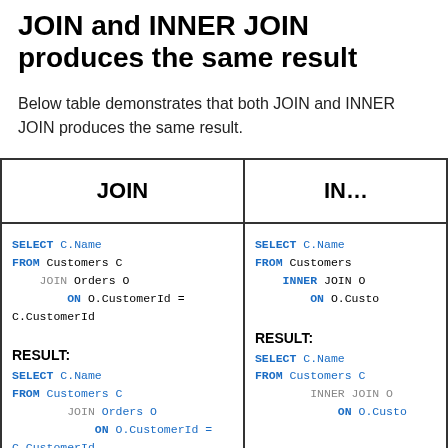JOIN and INNER JOIN produces the same result
Below table demonstrates that both JOIN and INNER JOIN produces the same result.
| JOIN | INNER JOIN |
| --- | --- |
| SELECT C.Name
FROM Customers C
    JOIN Orders O
        ON O.CustomerId = C.CustomerId

RESULT:

SELECT C.Name
FROM Customers C
      JOIN Orders O
          ON O.CustomerId = C.CustomerId | SELECT C.Name
FROM Customers C
    INNER JOIN O
        ON O.Custo...

RESULT:

SELECT C.Name
FROM Customers C
      INNER JOIN O
          ON O.Custo... |